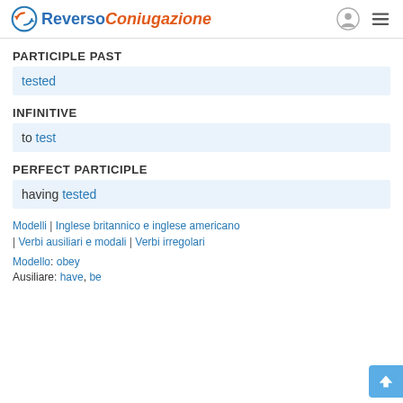Reverso Coniugazione
PARTICIPLE PAST
tested
INFINITIVE
to test
PERFECT PARTICIPLE
having tested
Modelli | Inglese britannico e inglese americano
| Verbi ausiliari e modali | Verbi irregolari
Modello: obey
Ausiliare: have, be